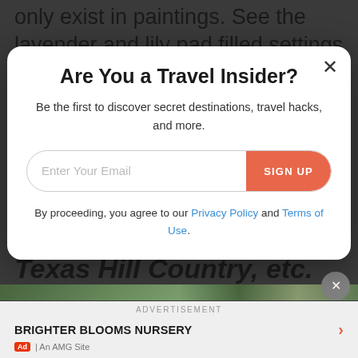only exist in paintings. See the lavender and lily pad filled settings that inspired his works
Are You a Travel Insider?
Be the first to discover secret destinations, travel hacks, and more.
Enter Your Email
SIGN UP
By proceeding, you agree to our Privacy Policy and Terms of Use.
Texas Hill Country, etc.
ADVERTISEMENT
BRIGHTER BLOOMS NURSERY
Ad | An AMG Site